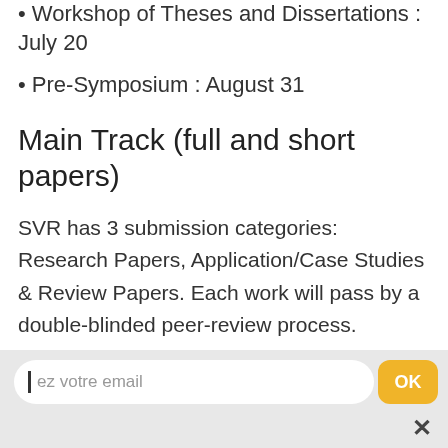• Workshop of Theses and Dissertations : July 20
• Pre-Symposium : August 31
Main Track (full and short papers)
SVR has 3 submission categories: Research Papers, Application/Case Studies & Review Papers. Each work will pass by a double-blinded peer-review process. Outstanding papers submitted will be invited to submit versions to a special session in the SBC Journal on Interactive Systems.